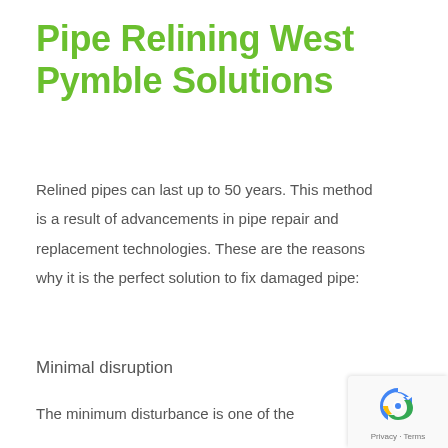Pipe Relining West Pymble Solutions
Relined pipes can last up to 50 years. This method is a result of advancements in pipe repair and replacement technologies. These are the reasons why it is the perfect solution to fix damaged pipe:
Minimal disruption
The minimum disturbance is one of the